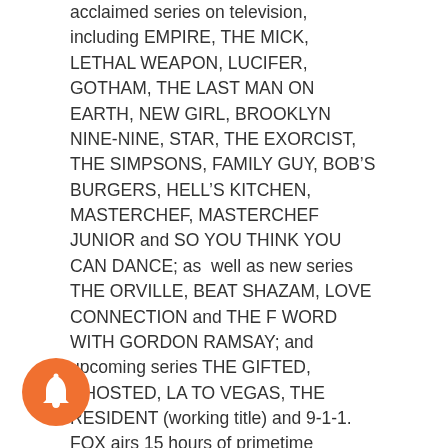acclaimed series on television, including EMPIRE, THE MICK, LETHAL WEAPON, LUCIFER, GOTHAM, THE LAST MAN ON EARTH, NEW GIRL, BROOKLYN NINE-NINE, STAR, THE EXORCIST, THE SIMPSONS, FAMILY GUY, BOB'S BURGERS, HELL'S KITCHEN, MASTERCHEF, MASTERCHEF JUNIOR and SO YOU THINK YOU CAN DANCE; as well as new series THE ORVILLE, BEAT SHAZAM, LOVE CONNECTION and THE F WORD WITH GORDON RAMSAY; and upcoming series THE GIFTED, GHOSTED, LA TO VEGAS, THE RESIDENT (working title) and 9-1-1. FOX airs 15 hours of primetime programming a week, as well as major sports and Sunday morning news. Through the FOX NOW app, FOX viewers can watch full episodes of their favorite FOX shows on a variety of digital platforms, while enjoying enhanced interactive and social capabilities around those shows. Download the FOX NOW app at w.fox.com/foxnow. To watch primetime programming n the web, visit www.fox.com/live. “Like” FOX on Facebook at www.facebook.com/FOXTV and follow the
[Figure (illustration): Orange circular bell notification icon in the bottom left corner]